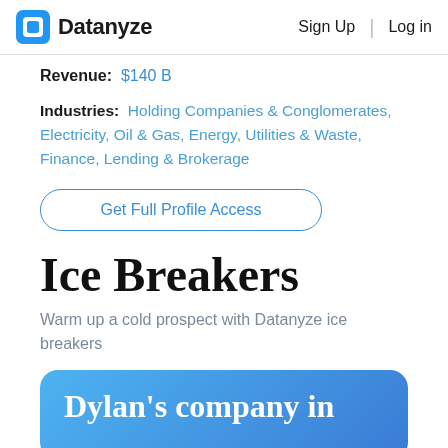Datanyze | Sign Up | Log in
Revenue: $140 B
Industries: Holding Companies & Conglomerates, Electricity, Oil & Gas, Energy, Utilities & Waste, Finance, Lending & Brokerage
Get Full Profile Access
Ice Breakers
Warm up a cold prospect with Datanyze ice breakers
Dylan's company in